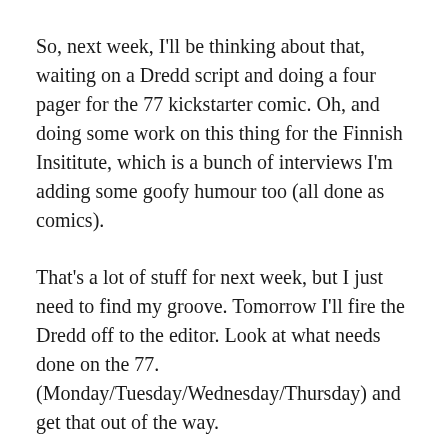So, next week, I'll be thinking about that, waiting on a Dredd script and doing a four pager for the 77 kickstarter comic. Oh, and doing some work on this thing for the Finnish Insititute, which is a bunch of interviews I'm adding some goofy humour too (all done as comics).
That's a lot of stuff for next week, but I just need to find my groove. Tomorrow I'll fire the Dredd off to the editor. Look at what needs done on the 77. (Monday/Tuesday/Wednesday/Thursday) and get that out of the way.